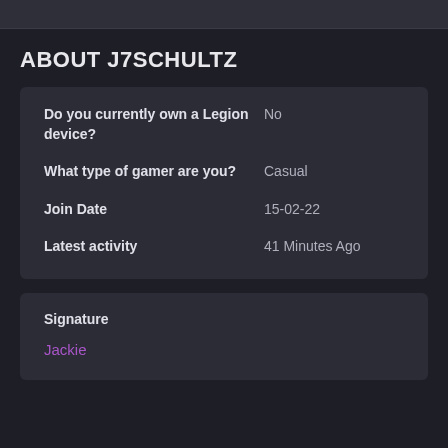ABOUT J7SCHULTZ
| Field | Value |
| --- | --- |
| Do you currently own a Legion device? | No |
| What type of gamer are you? | Casual |
| Join Date | 15-02-22 |
| Latest activity | 41 Minutes Ago |
Signature
Jackie